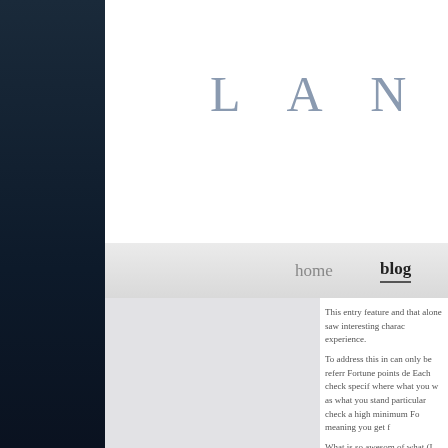LAND OF THE
home   blog
This entry feature and that alone saw interesting charac experience.
To address this in can only be referr Fortune points de Each check specif where what you w as what you stand particular check a high minimum Fo meaning you get f
What is so awesom of what (I think):